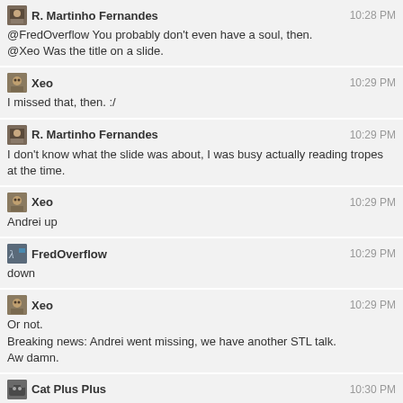R. Martinho Fernandes 10:28 PM
@FredOverflow You probably don't even have a soul, then.
@Xeo Was the title on a slide.
Xeo 10:29 PM
I missed that, then. :/
R. Martinho Fernandes 10:29 PM
I don't know what the slide was about, I was busy actually reading tropes at the time.
Xeo 10:29 PM
Andrei up
FredOverflow 10:29 PM
down
Xeo 10:29 PM
Or not.
Breaking news: Andrei went missing, we have another STL talk.
Aw damn.
Cat Plus Plus 10:30 PM
You know, watching and discussing it live is way more fun than just watching.
R. Martinho Fernandes 10:31 PM
Watching whatever stuff alone is always less fun than with company.